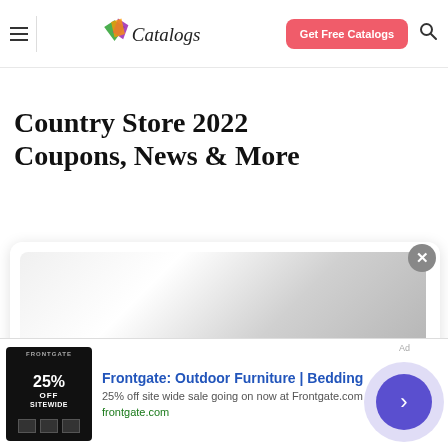Catalogs — Get Free Catalogs
Country Store 2022 Coupons, News & More
[Figure (screenshot): A card with a silver/grey gradient placeholder image area inside a white rounded card with shadow]
[Figure (screenshot): Advertisement banner: Frontgate: Outdoor Furniture | Bedding. 25% off site wide sale going on now at Frontgate.com. frontgate.com]